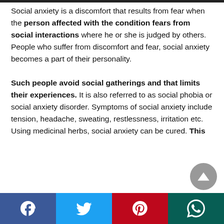Social anxiety is a discomfort that results from fear when the person affected with the condition fears from social interactions where he or she is judged by others. People who suffer from discomfort and fear, social anxiety becomes a part of their personality.

Such people avoid social gatherings and that limits their experiences. It is also referred to as social phobia or social anxiety disorder. Symptoms of social anxiety include tension, headache, sweating, restlessness, irritation etc. Using medicinal herbs, social anxiety can be cured. This
[Figure (other): Social media share bar at the bottom with Facebook, Twitter, Pinterest, and WhatsApp icons]